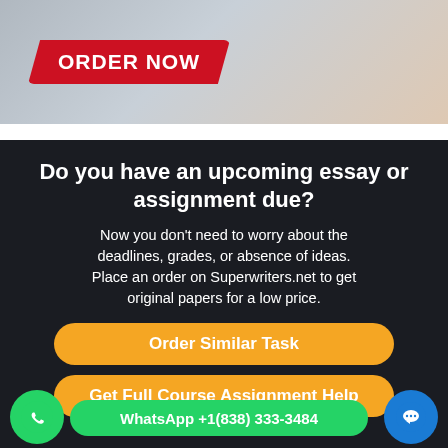[Figure (illustration): Top banner with 'ORDER NOW' button on red ribbon background]
Do you have an upcoming essay or assignment due?
Now you don't need to worry about the deadlines, grades, or absence of ideas. Place an order on Superwriters.net to get original papers for a low price.
Order Similar Task
Get Full Course Assignment Help
WhatsApp +1(838) 333-3484